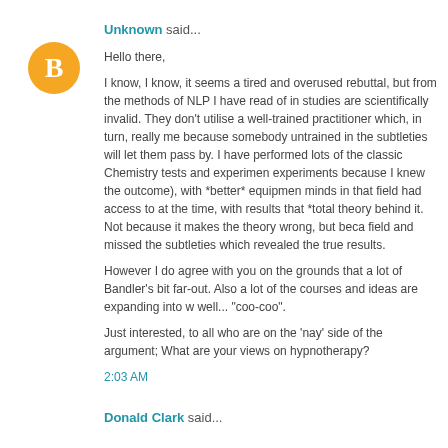Unknown said...
[Figure (illustration): Orange circular avatar with white blogger 'B' icon]
Hello there,

I know, I know, it seems a tired and overused rebuttal, but from the methods of NLP I have read of in studies are scientifically invalid. They don't utilise a well-trained practitioner which, in turn, really me because somebody untrained in the subtleties will let them pass by. I have performed lots of the classic Chemistry tests and experiments because I knew the outcome), with *better* equipment minds in that field had access to at the time, with results that *total theory behind it. Not because it makes the theory wrong, but beca field and missed the subtleties which revealed the true results.

However I do agree with you on the grounds that a lot of Bandler's bit far-out. Also a lot of the courses and ideas are expanding into w well... "coo-coo".

Just interested, to all who are on the 'nay' side of the argument; What are your views on hypnotherapy?

2:03 AM
Donald Clark said...